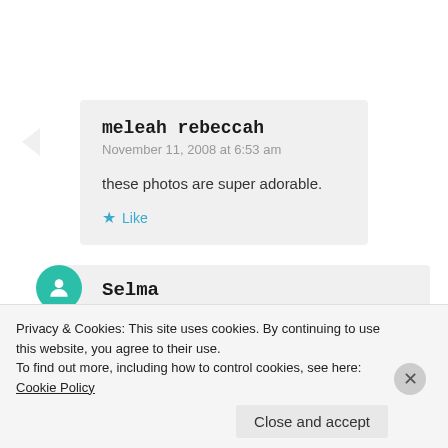meleah rebeccah
November 11, 2008 at 6:53 am

these photos are super adorable.

★ Like
Selma
Privacy & Cookies: This site uses cookies. By continuing to use this website, you agree to their use.
To find out more, including how to control cookies, see here: Cookie Policy
Close and accept